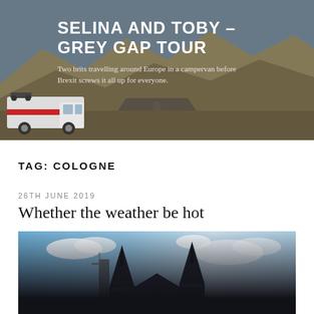[Figure (photo): Website header banner with a campervan on a desert road in front of arid mountain landscape. Dark overlay with white text.]
SELINA AND TOBY – GREY GAP TOUR
Two brits travelling around Europe in a campervan before Brexit screws it all up for everyone.
TAG: COLOGNE
26TH JUNE 2019
Whether the weather be hot
[Figure (photo): Photograph of Cologne Cathedral (Kölner Dom) viewed from below, showing the dramatic Gothic twin spires against a partly cloudy blue sky.]